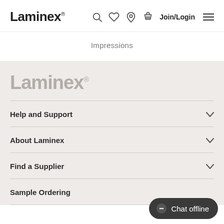Laminex — Join/Login
Impressions
Laminex
Help and Support
About Laminex
Find a Supplier
Sample Ordering
Chat offline